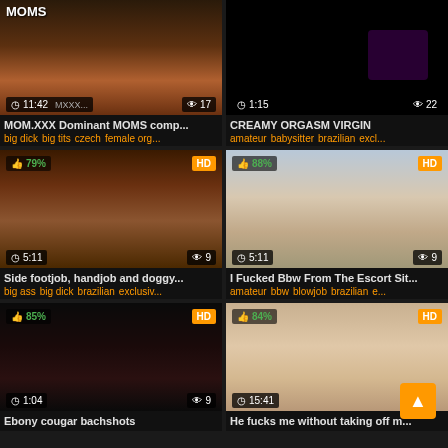[Figure (screenshot): Video thumbnail grid - adult video website with 6 video cards in 2-column layout]
MOM.XXX Dominant MOMS comp...
big dick big tits czech female org...
CREAMY ORGASM VIRGIN
amateur babysitter brazilian excl...
Side footjob, handjob and doggy...
big ass big dick brazilian exclusiv...
I Fucked Bbw From The Escort Sit...
amateur bbw blowjob brazilian e...
Ebony cougar bachshots
He fucks me without taking off m...